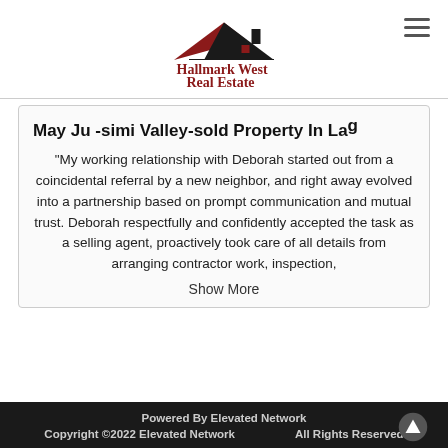[Figure (logo): Hallmark West Real Estate logo with house silhouette and red/black text]
May Ju -simi Valley-sold Property In Lag
“My working relationship with Deborah started out from a coincidental referral by a new neighbor, and right away evolved into a partnership based on prompt communication and mutual trust. Deborah respectfully and confidently accepted the task as a selling agent, proactively took care of all details from arranging contractor work, inspection,
Show More
Powered By Elevated Network
Copyright ©2022 Elevated Network    All Rights Reserved